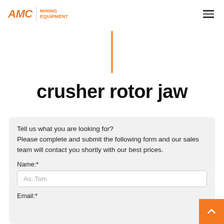AMC MINING EQUIPMENT
crusher rotor jaw
Tell us what you are looking for?
Please complete and submit the following form and our sales team will contact you shortly with our best prices.
Name:*
As: Tom
Email:*